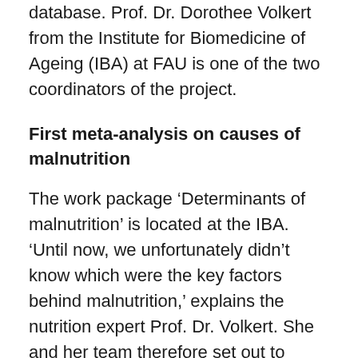database. Prof. Dr. Dorothee Volkert from the Institute for Biomedicine of Ageing (IBA) at FAU is one of the two coordinators of the project.
First meta-analysis on causes of malnutrition
The work package ‘Determinants of malnutrition’ is located at the IBA. ‘Until now, we unfortunately didn’t know which were the key factors behind malnutrition,’ explains the nutrition expert Prof. Dr. Volkert. She and her team therefore set out to explore which of a total of 23 variables — ranging from aspects such as difficulties with chewing and swallowing or cognitive impairments to loneliness and depression or moving into a care home — were decisive for malnutrition. ‘The research partners took six existing sets of data from studies on the elderly over the age of 65 and re-evaluated them